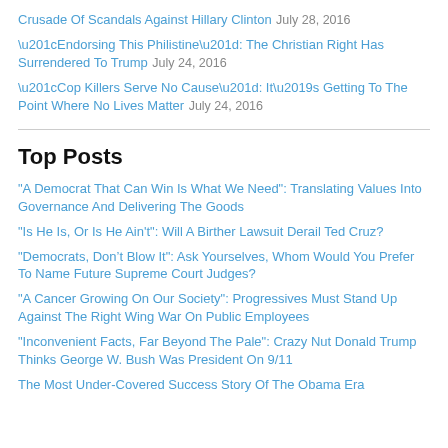Crusade Of Scandals Against Hillary Clinton July 28, 2016
“Endorsing This Philistine”: The Christian Right Has Surrendered To Trump July 24, 2016
“Cop Killers Serve No Cause”: It’s Getting To The Point Where No Lives Matter July 24, 2016
Top Posts
"A Democrat That Can Win Is What We Need": Translating Values Into Governance And Delivering The Goods
"Is He Is, Or Is He Ain't": Will A Birther Lawsuit Derail Ted Cruz?
"Democrats, Don’t Blow It": Ask Yourselves, Whom Would You Prefer To Name Future Supreme Court Judges?
"A Cancer Growing On Our Society": Progressives Must Stand Up Against The Right Wing War On Public Employees
"Inconvenient Facts, Far Beyond The Pale": Crazy Nut Donald Trump Thinks George W. Bush Was President On 9/11
The Most Under-Covered Success Story Of The Obama Era